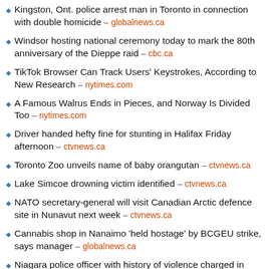Kingston, Ont. police arrest man in Toronto in connection with double homicide – globalnews.ca
Windsor hosting national ceremony today to mark the 80th anniversary of the Dieppe raid – cbc.ca
TikTok Browser Can Track Users' Keystrokes, According to New Research – nytimes.com
A Famous Walrus Ends in Pieces, and Norway Is Divided Too – nytimes.com
Driver handed hefty fine for stunting in Halifax Friday afternoon – ctvnews.ca
Toronto Zoo unveils name of baby orangutan – ctvnews.ca
Lake Simcoe drowning victim identified – ctvnews.ca
NATO secretary-general will visit Canadian Arctic defence site in Nunavut next week – ctvnews.ca
Cannabis shop in Nanaimo 'held hostage' by BCGEU strike, says manager – globalnews.ca
Niagara police officer with history of violence charged in